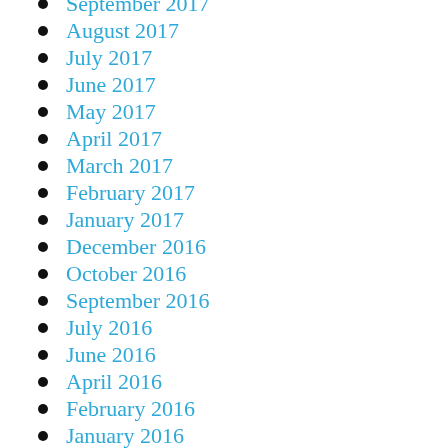September 2017
August 2017
July 2017
June 2017
May 2017
April 2017
March 2017
February 2017
January 2017
December 2016
October 2016
September 2016
July 2016
June 2016
April 2016
February 2016
January 2016